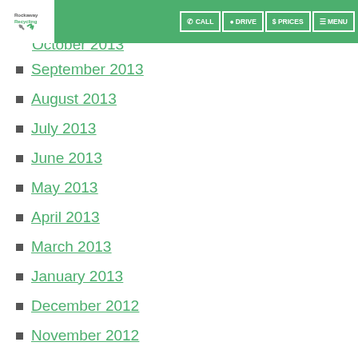Rockaway Recycling | CALL | DRIVE | PRICES | MENU
October 2013
September 2013
August 2013
July 2013
June 2013
May 2013
April 2013
March 2013
January 2013
December 2012
November 2012
October 2012